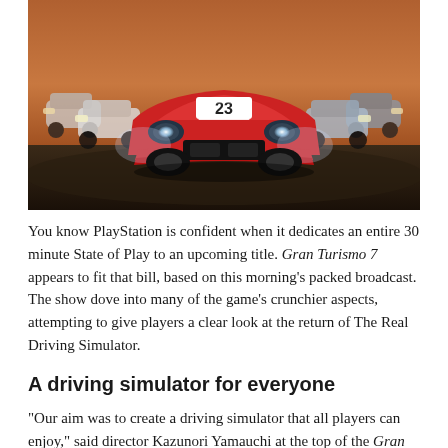[Figure (photo): A red race car with the number 23 on its hood, facing directly toward the camera on a track at dusk/dawn. Several other vintage-style race cars are visible in the background on either side. The scene appears to be from the Gran Turismo 7 video game.]
You know PlayStation is confident when it dedicates an entire 30 minute State of Play to an upcoming title. Gran Turismo 7 appears to fit that bill, based on this morning's packed broadcast. The show dove into many of the game's crunchier aspects, attempting to give players a clear look at the return of The Real Driving Simulator.
A driving simulator for everyone
“Our aim was to create a driving simulator that all players can enjoy,” said director Kazunori Yamauchi at the top of the Gran Turismo 7 State of Play. Though he calls GT7 the